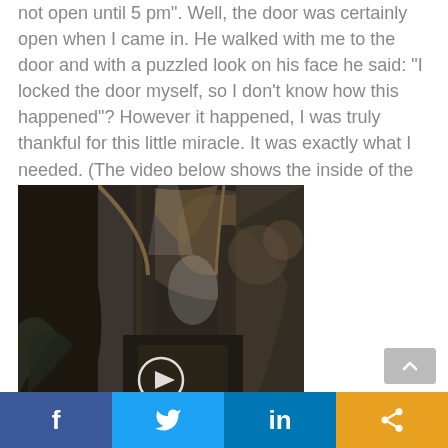not open until 5 pm".  Well, the door was certainly open when I came in.  He walked with me to the door and with a puzzled look on his face he said: “I locked the door myself, so I don’t know how this happened”?  However it happened, I was truly thankful for this little miracle.  It was exactly what I needed.  (The video below shows the inside of the church).
[Figure (photo): Interior of an ornate church showing arched ceilings with elaborate frescoes and decorative stonework, baroque style architecture with columns and altar visible in the background.]
Facebook | Twitter | LinkedIn | Share